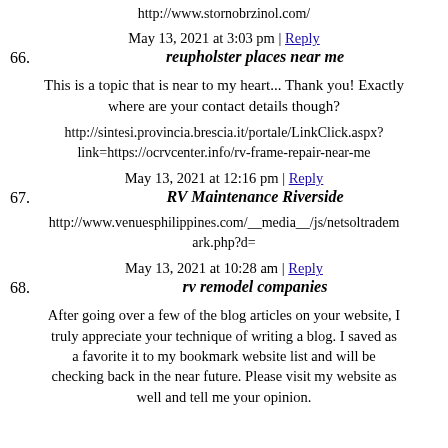http://www.stornobrzinol.com/
May 13, 2021 at 3:03 pm | Reply
66. reupholster places near me
This is a topic that is near to my heart... Thank you! Exactly where are your contact details though?
http://sintesi.provincia.brescia.it/portale/LinkClick.aspx?link=https://ocrvcenter.info/rv-frame-repair-near-me
May 13, 2021 at 12:16 pm | Reply
67. RV Maintenance Riverside
http://www.venuesphilippines.com/__media__/js/netsoltrademark.php?d=
May 13, 2021 at 10:28 am | Reply
68. rv remodel companies
After going over a few of the blog articles on your website, I truly appreciate your technique of writing a blog. I saved as a favorite it to my bookmark website list and will be checking back in the near future. Please visit my website as well and tell me your opinion.